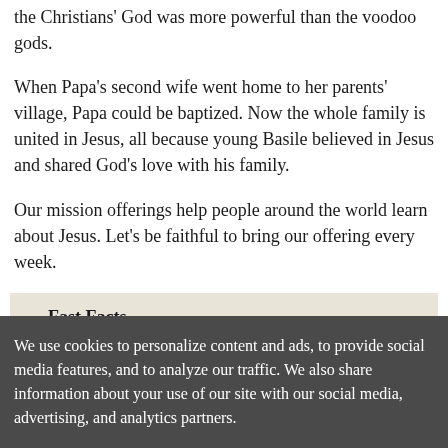the Christians' God was more powerful than the voodoo gods.
When Papa's second wife went home to her parents' village, Papa could be baptized. Now the whole family is united in Jesus, all because young Basile believed in Jesus and shared God's love with his family.
Our mission offerings help people around the world learn about Jesus. Let's be faithful to bring our offering every week.
Fast Facts
Benin is a tiny country that lies along the southern coast of the bulge of western
We use cookies to personalize content and ads, to provide social media features, and to analyze our traffic. We also share information about your use of our site with our social media, advertising, and analytics partners.